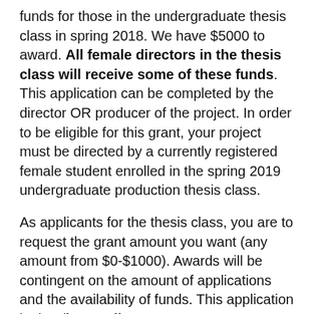funds for those in the undergraduate thesis class in spring 2018. We have $5000 to award. All female directors in the thesis class will receive some of these funds. This application can be completed by the director OR producer of the project. In order to be eligible for this grant, your project must be directed by a currently registered female student enrolled in the spring 2019 undergraduate production thesis class.
As applicants for the thesis class, you are to request the grant amount you want (any amount from $0-$1000). Awards will be contingent on the amount of applications and the availability of funds. This application is due (by email to austinwomenincinema@gmail.com) by 11:59PM CENTRAL TIME ON SATURDAY, NOVEMBER 15. The grant winners will be contacted by the beginning of December. Please reach out to us if you have any